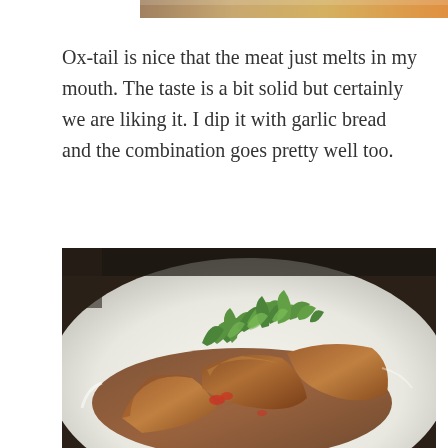[Figure (photo): Partial top edge of a food photo, showing what appears to be a dish with orange/golden tones, cropped at the very top of the page.]
Ox-tail is nice that the meat just melts in my mouth. The taste is a bit solid but certainly we are liking it. I dip it with garlic bread and the combination goes pretty well too.
[Figure (photo): A restaurant dish on a white plate featuring braised or roasted meat pieces topped with fresh green herbs (arugula/rocket), red peppers, and a rich brown gravy/sauce.]